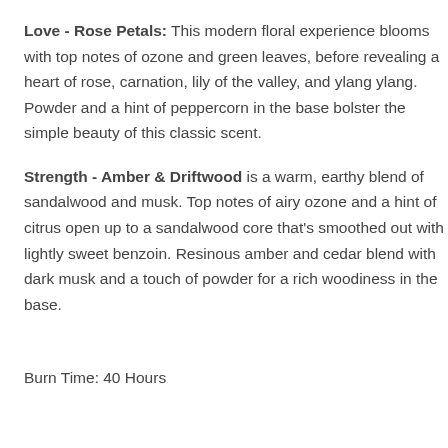Love - Rose Petals: This modern floral experience blooms with top notes of ozone and green leaves, before revealing a heart of rose, carnation, lily of the valley, and ylang ylang. Powder and a hint of peppercorn in the base bolster the simple beauty of this classic scent.
Strength - Amber & Driftwood is a warm, earthy blend of sandalwood and musk. Top notes of airy ozone and a hint of citrus open up to a sandalwood core that's smoothed out with lightly sweet benzoin. Resinous amber and cedar blend with dark musk and a touch of powder for a rich woodiness in the base.
Burn Time: 40 Hours